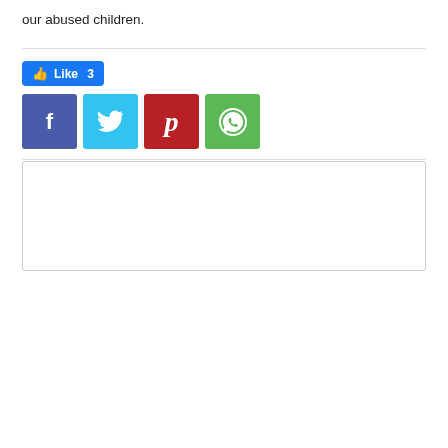our abused children.
[Figure (infographic): Social media share buttons: Like 3 button (Facebook blue), and four share icons for Facebook (dark blue), Twitter (cyan), Pinterest (red), WhatsApp (green)]
Previous article
Daily weather forecast valid 6am June 7th 2022
Next article
Weekend of several traffic accidents and one drowning
[Figure (other): Empty comment/content box with border]